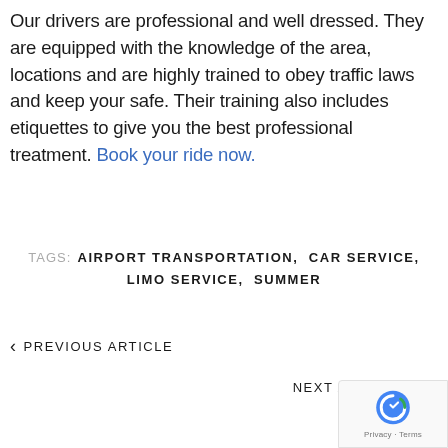Our drivers are professional and well dressed. They are equipped with the knowledge of the area, locations and are highly trained to obey traffic laws and keep your safe. Their training also includes etiquettes to give you the best professional treatment. Book your ride now.
TAGS: AIRPORT TRANSPORTATION, CAR SERVICE, LIMO SERVICE, SUMMER
< PREVIOUS ARTICLE
NEXT A...